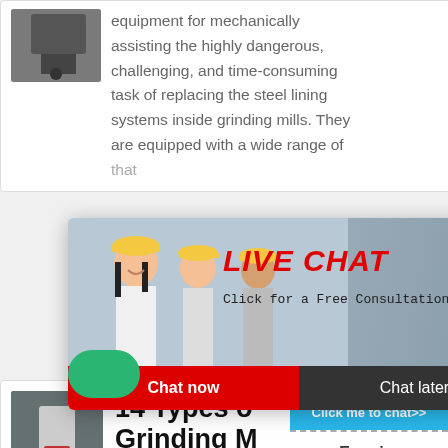[Figure (photo): Industrial equipment photo, dark machinery at top of card]
equipment for mechanically assisting the highly dangerous, challenging, and time-consuming task of replacing the steel lining systems inside grinding mills. They are equipped with a wide range of that
[Figure (photo): Live chat overlay showing workers in hard hats, with LIVE CHAT heading, Chat now and Chat later buttons]
[Figure (photo): Industrial grinding mill inside a factory]
14 Types of Grinding M [Working
[Figure (infographic): Right sidebar with hour online text, crusher machine image, Click me to chat>> button, Enquiry button, email contact]